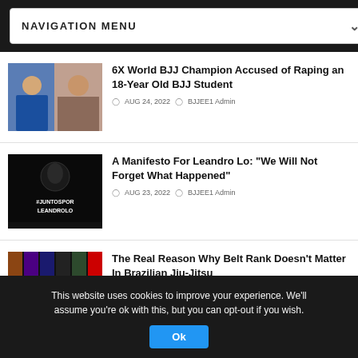NAVIGATION MENU
6X World BJJ Champion Accused of Raping an 18-Year Old BJJ Student
AUG 24, 2022  BJJEE1 Admin
A Manifesto For Leandro Lo: "We Will Not Forget What Happened"
AUG 23, 2022  BJJEE1 Admin
The Real Reason Why Belt Rank Doesn't Matter In Brazilian Jiu-Jitsu
AUG 23, 2022  BJJEE1 Admin
This website uses cookies to improve your experience. We'll assume you're ok with this, but you can opt-out if you wish. Ok